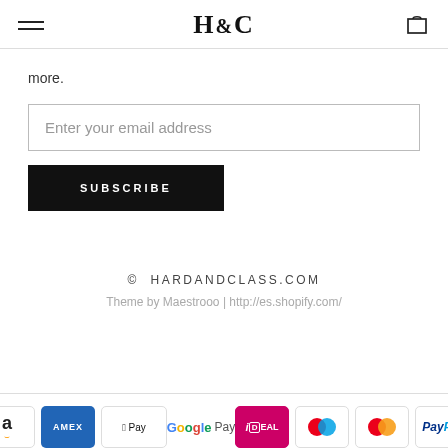H&C logo with hamburger menu and cart icon
more.
Enter your email address
SUBSCRIBE
© HARDANDCLASS.COM
Theme by Maestrooo | http://es.shopify.com/
[Figure (other): Payment method icons: Amazon, AMEX, Apple Pay, Google Pay, iDEAL, Maestro, Mastercard, PayPal]